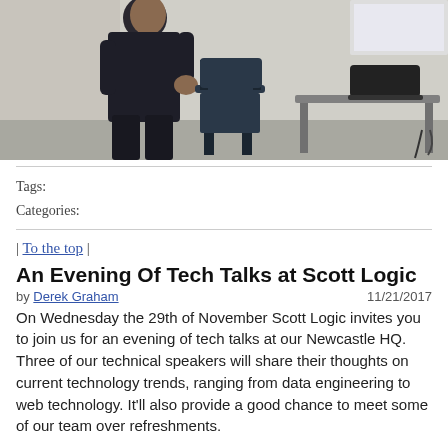[Figure (photo): Photo of a person standing in a room with a chair and a table with a laptop on the right side]
Tags:
Categories:
| To the top |
An Evening Of Tech Talks at Scott Logic
by Derek Graham   11/21/2017
On Wednesday the 29th of November Scott Logic invites you to join us for an evening of tech talks at our Newcastle HQ. Three of our technical speakers will share their thoughts on current technology trends, ranging from data engineering to web technology. It’ll also provide a good chance to meet some of our team over refreshments.